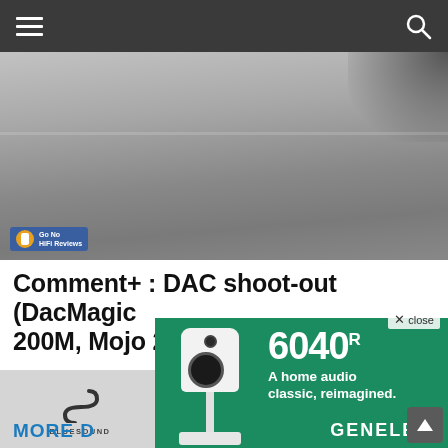Navigation bar with hamburger menu and search icon
[Figure (photo): Hero image showing what appears to be electronic audio equipment, partially visible, gray tones. Small logo badge in lower left reading 'Go No HiFi Reviews']
Comment+ : DAC shoot-out (DacMagic 200M, Mojo 2, Ares II)
[Figure (advertisement): Genelec 6040R speaker advertisement popup overlay on teal/green background. Shows white studio monitor speaker on stand, text '6040R', 'A home audio classic, reimagined.', and GENELEC brand name. Close button top right. Partially covers page content.]
MORE D
AKERS
BLUESOUND
HE ORIGINAL
RE5 STREAMER
ST GOT BETTER.
BUY NOW